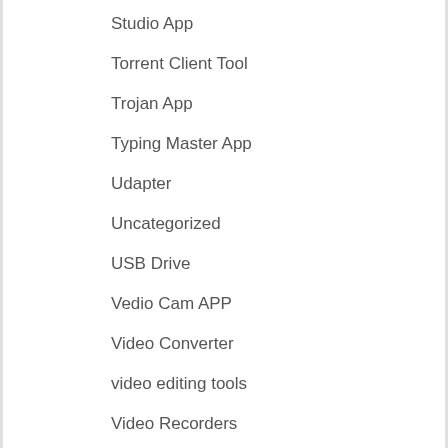Studio App
Torrent Client Tool
Trojan App
Typing Master App
Udapter
Uncategorized
USB Drive
Vedio Cam APP
Video Converter
video editing tools
Video Recorders